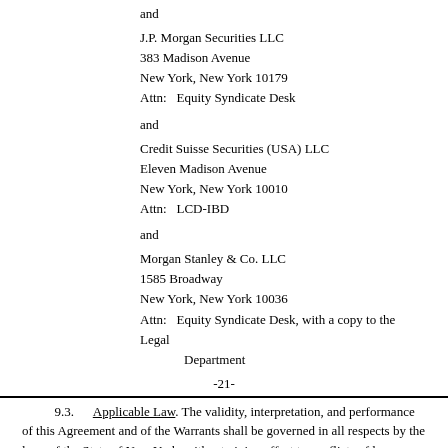and
J.P. Morgan Securities LLC
383 Madison Avenue
New York, New York 10179
Attn:   Equity Syndicate Desk
and
Credit Suisse Securities (USA) LLC
Eleven Madison Avenue
New York, New York 10010
Attn:   LCD-IBD
and
Morgan Stanley & Co. LLC
1585 Broadway
New York, New York 10036
Attn:   Equity Syndicate Desk, with a copy to the Legal Department
-21-
9.3.  Applicable Law. The validity, interpretation, and performance of this Agreement and of the Warrants shall be governed in all respects by the laws of the State of New York, without giving effect to conflicts of law principles that would result in the application of the substantive laws of another